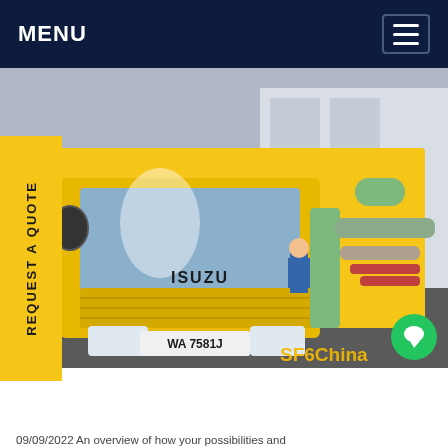MENU
[Figure (photo): Yellow ISUZU truck with license plate WA758IJ parked at an industrial site with green machinery and a worker in blue coveralls visible in the background. SF6China watermark in lower right.]
Handling in Russia
09/09/2022 An overview of how your possibilities and